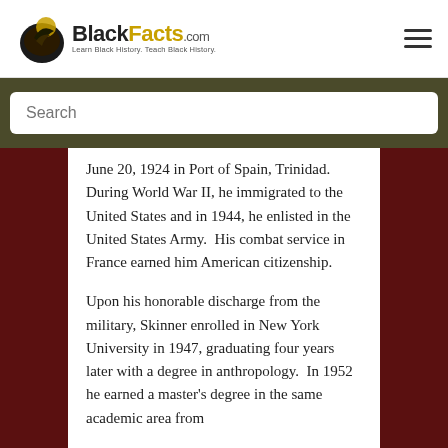BlackFacts.com — Learn Black History. Teach Black History.
Search
June 20, 1924 in Port of Spain, Trinidad. During World War II, he immigrated to the United States and in 1944, he enlisted in the United States Army. His combat service in France earned him American citizenship.
Upon his honorable discharge from the military, Skinner enrolled in New York University in 1947, graduating four years later with a degree in anthropology. In 1952 he earned a master's degree in the same academic area from…